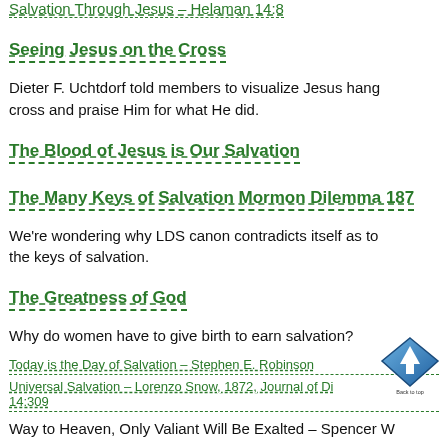Salvation Through Jesus – Helaman 14:8
Seeing Jesus on the Cross
Dieter F. Uchtdorf told members to visualize Jesus hanging on the cross and praise Him for what He did.
The Blood of Jesus is Our Salvation
The Many Keys of Salvation Mormon Dilemma 187
We're wondering why LDS canon contradicts itself as to the keys of salvation.
The Greatness of God
Why do women have to give birth to earn salvation?
Today is the Day of Salvation – Stephen E. Robinson
Universal Salvation – Lorenzo Snow, 1872, Journal of Discourses 14:309
Way to Heaven, Only Valiant Will Be Exalted – Spencer W…